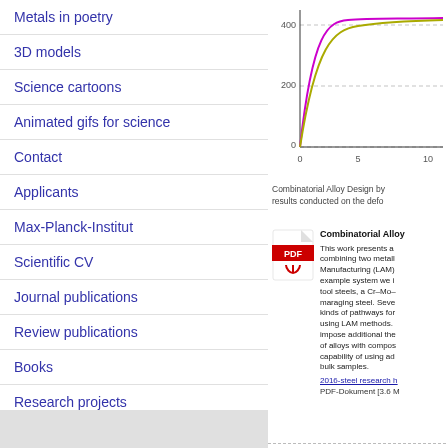Metals in poetry
3D models
Science cartoons
Animated gifs for science
Contact
Applicants
Max-Planck-Institut
Scientific CV
Journal publications
Review publications
Books
Research projects
[Figure (continuous-plot): Line chart showing curves rising steeply then leveling off. Y-axis labeled with 0, 200, 400. X-axis labeled with 0, 5, 10. Two curves visible (magenta/purple and olive/yellow-green).]
Combinatorial Alloy Design by... results conducted on the defo...
[Figure (other): PDF document icon (red Adobe PDF icon)]
Combinatorial Alloy... This work presents a... combining two metall... Manufacturing (LAM)... example system we i... tool steels, a Cr–Mo–... maraging steel. Seve... kinds of pathways for... using LAM methods.... impose additional the... of alloys with compos... capability of using ad... bulk samples.
2016-steel research h...
PDF-Dokument [3.6 M...